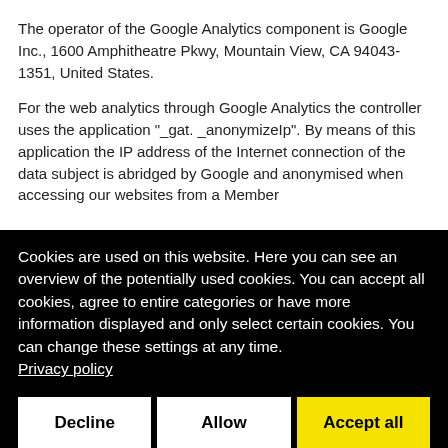The operator of the Google Analytics component is Google Inc., 1600 Amphitheatre Pkwy, Mountain View, CA 94043-1351, United States.
For the web analytics through Google Analytics the controller uses the application "_gat. _anonymizeIp". By means of this application the IP address of the Internet connection of the data subject is abridged by Google and anonymised when accessing our websites from a Member
Cookies are used on this website. Here you can see an overview of the potentially used cookies. You can accept all cookies, agree to entire categories or have more information displayed and only select certain cookies. You can change these settings at any time.
Privacy policy
Decline | Allow | Accept all
Cookie settings
☑ Essential | ☐ External Media | ☐ Statistics | ☐ Marketing